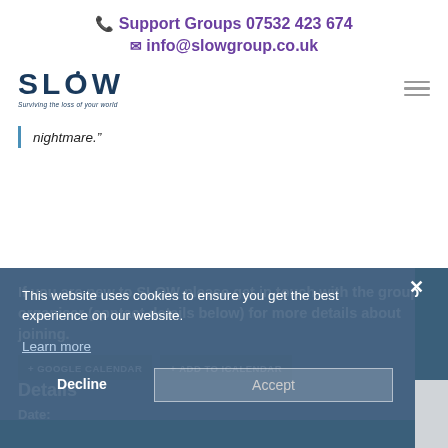Support Groups 07532 423 674
info@slowgroup.co.uk
[Figure (logo): SLOW logo with tagline 'Surviving the loss of your world']
nightmare."
If you are new to SLOW please get in touch with the group organiser (contact details below) for more details about joining.
This website uses cookies to ensure you get the best experience on our website.
Learn more
+ GOOGLE CALENDAR  + ADD TO ICALENDAR
Decline
Accept
Details
Date: